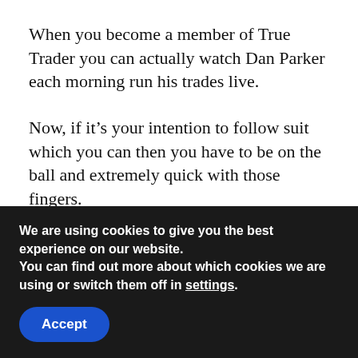When you become a member of True Trader you can actually watch Dan Parker each morning run his trades live.
Now, if it’s your intention to follow suit which you can then you have to be on the ball and extremely quick with those fingers.
Before Dan starts his trading day he will have analysed stocks, to try and find indications that those stocks are going to do well for that
We are using cookies to give you the best experience on our website.
You can find out more about which cookies we are using or switch them off in settings.